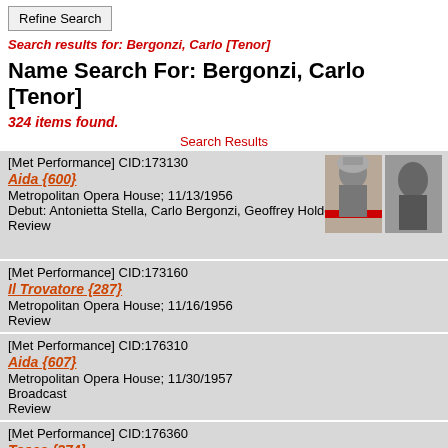Refine Search
Search results for: Bergonzi, Carlo [Tenor]
Name Search For: Bergonzi, Carlo [Tenor]
324 items found.
Search Results
[Figure (photo): Two black and white photos: a woman in ornate headdress and a man singing]
[Met Performance] CID:173130
Aida {600}
Metropolitan Opera House; 11/13/1956
Debut: Antonietta Stella, Carlo Bergonzi, Geoffrey Holder
Review
[Met Performance] CID:173160
Il Trovatore {287}
Metropolitan Opera House; 11/16/1956
Review
[Met Performance] CID:176310
Aida {607}
Metropolitan Opera House; 11/30/1957
Broadcast
Review
[Met Performance] CID:176360
Tosca {374}
Metropolitan Opera House; 10/5/1957